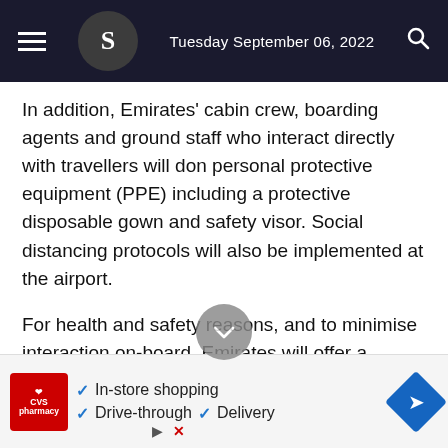Tuesday September 06, 2022
In addition, Emirates' cabin crew, boarding agents and ground staff who interact directly with travellers will don personal protective equipment (PPE) including a protective disposable gown and safety visor. Social distancing protocols will also be implemented at the airport.
For health and safety reasons, and to minimise interaction on-board, Emirates will offer a modified in-flight service that focuses on reducing contact and infection risk. Magazines and print reading material will not be available during this time. Cabin
[Figure (other): CVS Pharmacy advertisement banner with checkmarks listing: In-store shopping, Drive-through, Delivery, and a blue navigation arrow icon]